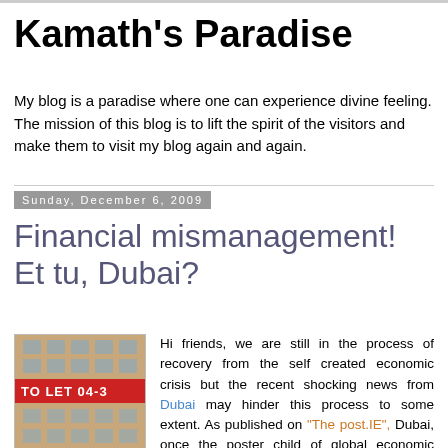Kamath's Paradise
My blog is a paradise where one can experience divine feeling. The mission of this blog is to lift the spirit of the visitors and make them to visit my blog again and again.
Sunday, December 6, 2009
Financial mismanagement! Et tu, Dubai?
[Figure (photo): Photo of a building with a red 'TO LET' sign banner across the facade]
Hi friends, we are still in the process of recovery from the self created economic crisis but the recent shocking news from Dubai may hinder this process to some extent. As published on "The post.IE", Dubai, once the poster child of global economic boom, looks like becoming the symbol of its collapse, with major question marks over its financial health. When I first read this story I remembered